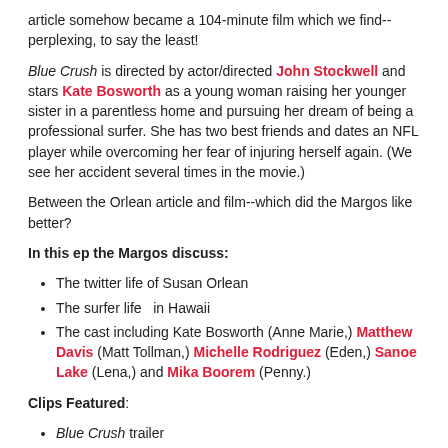article somehow became a 104-minute film which we find--perplexing, to say the least!
Blue Crush is directed by actor/directed John Stockwell and stars Kate Bosworth as a young woman raising her younger sister in a parentless home and pursuing her dream of being a professional surfer. She has two best friends and dates an NFL player while overcoming her fear of injuring herself again. (We see her accident several times in the movie.)
Between the Orlean article and film--which did the Margos like better?
In this ep the Margos discuss:
The twitter life of Susan Orlean
The surfer life  in Hawaii
The cast including Kate Bosworth (Anne Marie,) Matthew Davis (Matt Tollman,) Michelle Rodriguez (Eden,) Sanoe Lake (Lena,) and Mika Boorem (Penny.)
Clips Featured:
Blue Crush trailer
Matt gives a pep talk to Anne Marie
"Jessica from Billabong"
Music: Cruel Summer by Blestenation & Bananarama
Join our Patreon page to help support the show!